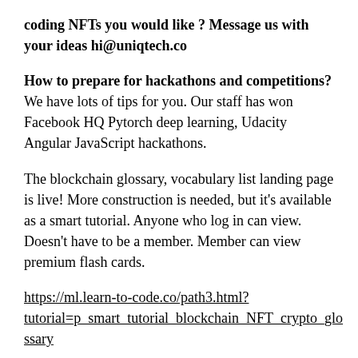coding NFTs you would like ? Message us with your ideas hi@uniqtech.co
How to prepare for hackathons and competitions? We have lots of tips for you. Our staff has won Facebook HQ Pytorch deep learning, Udacity Angular JavaScript hackathons.
The blockchain glossary, vocabulary list landing page is live! More construction is needed, but it's available as a smart tutorial. Anyone who log in can view. Doesn't have to be a member. Member can view premium flash cards.
https://ml.learn-to-code.co/path3.html?tutorial=p_smart_tutorial_blockchain_NFT_crypto_glossary